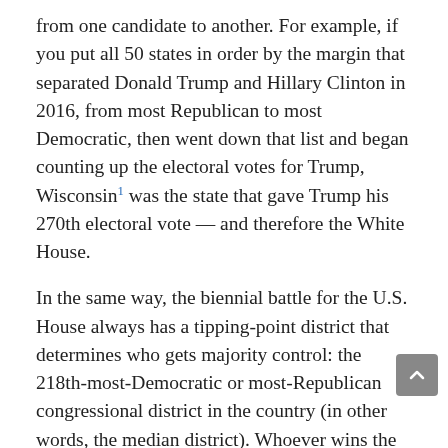from one candidate to another. For example, if you put all 50 states in order by the margin that separated Donald Trump and Hillary Clinton in 2016, from most Republican to most Democratic, then went down that list and began counting up the electoral votes for Trump, Wisconsin¹ was the state that gave Trump his 270th electoral vote — and therefore the White House.
In the same way, the biennial battle for the U.S. House always has a tipping-point district that determines who gets majority control: the 218th-most-Democratic or most-Republican congressional district in the country (in other words, the median district). Whoever wins the tipping-point district wins the House; it's that simple.
In addition to all its other bells and whistles, our new U.S. House model can help us estimate the chances that any given congressional district will be the tipping-point district, just like our presidential model estimates which states are most likely to be the tipping point for that race.